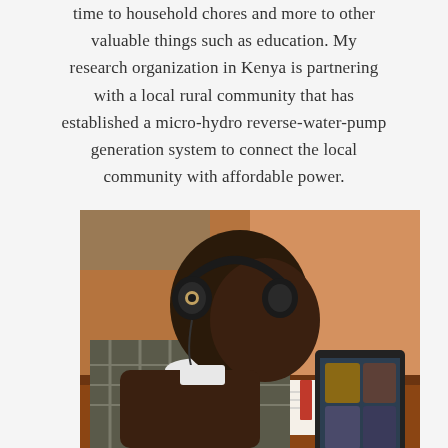time to household chores and more to other valuable things such as education. My research organization in Kenya is partnering with a local rural community that has established a micro-hydro reverse-water-pump generation system to connect the local community with affordable power.
[Figure (photo): A child wearing headphones looks at a tablet propped on a desk, with an open book in front of them. The background shows a warm-toned earthen wall, suggesting a rural school setting in Africa.]